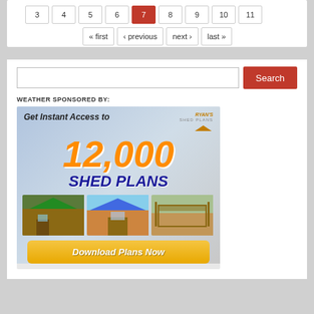3 4 5 6 7 8 9 10 11
« first ‹ previous next › last »
WEATHER SPONSORED BY:
[Figure (infographic): Advertisement for Ryan's Shed Plans: 'Get Instant Access to 12,000 SHED PLANS' with photos of three sheds and a 'Download Plans Now' button]